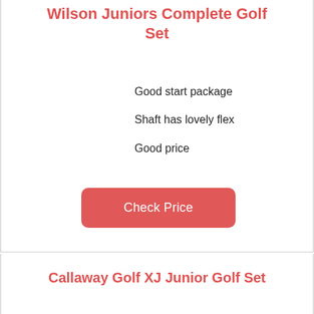Wilson Juniors Complete Golf Set
Good start package
Shaft has lovely flex
Good price
Check Price
Callaway Golf XJ Junior Golf Set